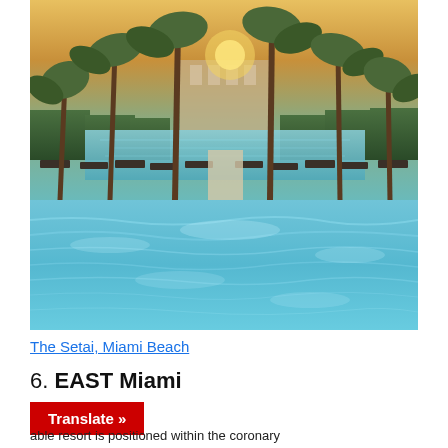[Figure (photo): Two-panel hotel pool photo. Top panel shows a luxury pool area with palm trees, lounge chairs, hedges, and a building in the background at sunset/golden hour. Bottom panel shows a close-up of a bright blue swimming pool reflecting blue skies.]
The Setai, Miami Beach
6. EAST Miami
Translate »
able resort is positioned within the coronary